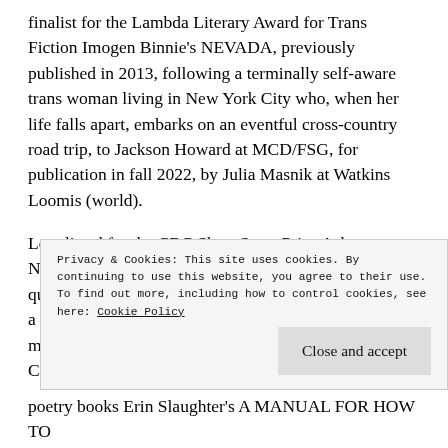finalist for the Lambda Literary Award for Trans Fiction Imogen Binnie's NEVADA, previously published in 2013, following a terminally self-aware trans woman living in New York City who, when her life falls apart, embarks on an eventful cross-country road trip, to Jackson Howard at MCD/FSG, for publication in fall 2022, by Julia Masnik at Watkins Loomis (world).
Longlisted for the CBC Short Story Prize Ashton Noone's SUBURBAN ANIMALS, an #OwnVoices queer suspense thriller, where a woman on the run from a violent ex finds herself thrust back into a troubling mystery that haunts the town of her youth, to Luisa Cruz Smith at Scarlet, in a nice deal, in a major, for publication in...
Privacy & Cookies: This site uses cookies. By continuing to use this website, you agree to their use.
To find out more, including how to control cookies, see here: Cookie Policy
Close and accept
poetry books Erin Slaughter's A MANUAL FOR HOW TO